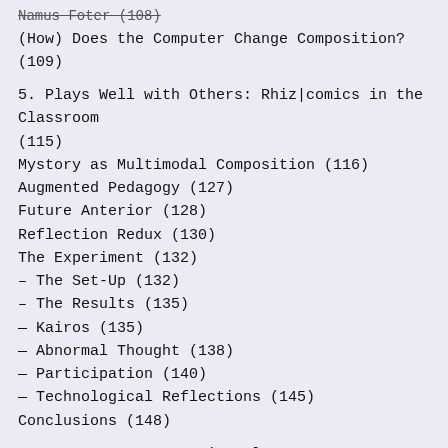Namus Foter (108)
(How) Does the Computer Change Composition? (109)
5. Plays Well with Others: Rhiz|comics in the Classroom (115)
Mystory as Multimodal Composition (116)
Augmented Pedagogy (127)
Future Anterior (128)
Reflection Redux (130)
The Experiment (132)
– The Set-Up (132)
– The Results (135)
— Kairos (135)
— Abnormal Thought (138)
— Participation (140)
— Technological Reflections (145)
Conclusions (148)
Excursus 3: It Must Give Pleasure
Conclusion: Compose Yourself! (154)